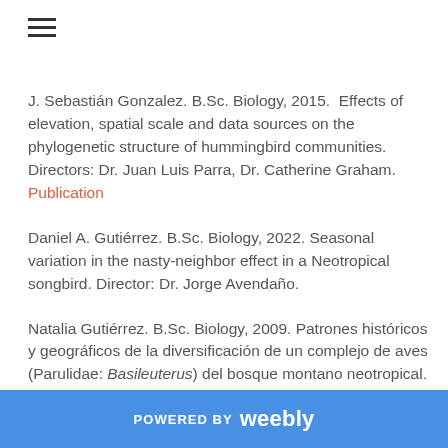≡
J. Sebastián Gonzalez. B.Sc. Biology, 2015.  Effects of elevation, spatial scale and data sources on the phylogenetic structure of hummingbird communities.  Directors: Dr. Juan Luis Parra, Dr. Catherine Graham. Publication
Daniel A. Gutiérrez. B.Sc. Biology, 2022. Seasonal variation in the nasty-neighbor effect in a Neotropical songbird. Director: Dr. Jorge Avendaño.
Natalia Gutiérrez. B.Sc. Biology, 2009. Patrones históricos y geográficos de la diversificación de un complejo de aves (Parulidae: Basileuterus) del bosque montano neotropical. Director: Andrés M. Cuervo. Publication
POWERED BY weebly